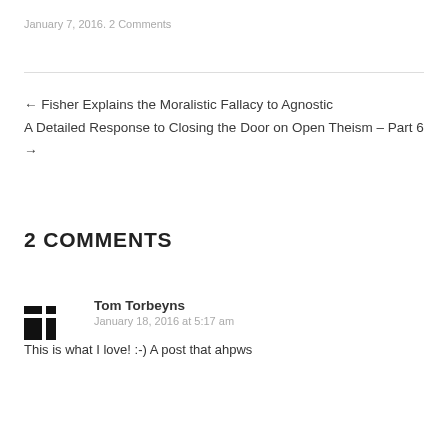January 7, 2016. 2 Comments
← Fisher Explains the Moralistic Fallacy to Agnostic
A Detailed Response to Closing the Door on Open Theism – Part 6 →
2 COMMENTS
Tom Torbeyns
January 18, 2016 at 5:17 am
This is what I love! :-) A post that ahpws
REPLY